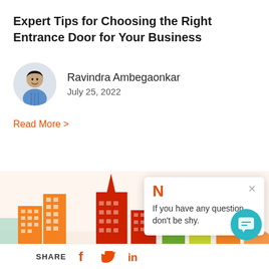Expert Tips for Choosing the Right Entrance Door for Your Business
Ravindra Ambegaonkar
July 25, 2022
Read More >
[Figure (illustration): Colorful city skyline illustration with orange, red, green, and yellow buildings]
If you have any question, don't be shy.
SHARE